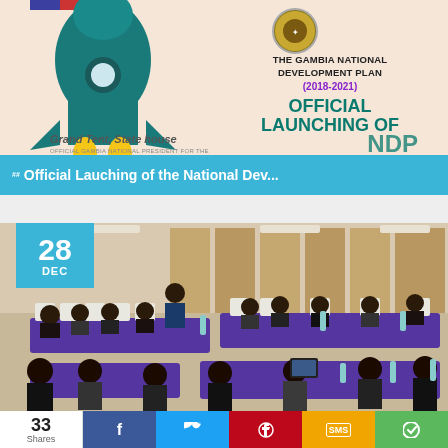[Figure (screenshot): Top card showing The Gambia National Development Plan (2018-2021) official launching announcement with rocket illustration on beige background, coat of arms logo, teal text 'OFFICIAL LAUNCHING OF NDP', and 'Grand Tent, State house' text]
Official Lauching of the National Dev...
[Figure (photo): Conference room photo dated 28 DEC with people seated at purple-draped tables in a meeting hall, date badge overlay in cyan]
33 Shares
[Figure (infographic): Social share bar with Facebook, Twitter, Pinterest, SMS, and share buttons]